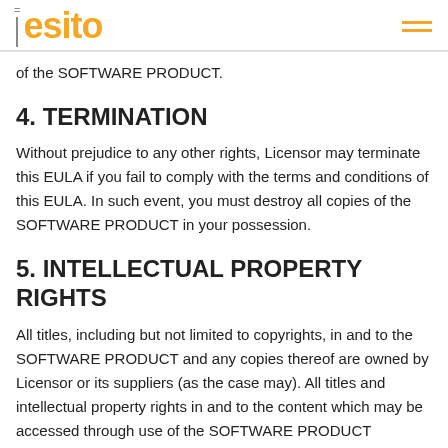esito
of the SOFTWARE PRODUCT.
4. TERMINATION
Without prejudice to any other rights, Licensor may terminate this EULA if you fail to comply with the terms and conditions of this EULA. In such event, you must destroy all copies of the SOFTWARE PRODUCT in your possession.
5. INTELLECTUAL PROPERTY RIGHTS
All titles, including but not limited to copyrights, in and to the SOFTWARE PRODUCT and any copies thereof are owned by Licensor or its suppliers (as the case may). All titles and intellectual property rights in and to the content which may be accessed through use of the SOFTWARE PRODUCT belong to the owner of that